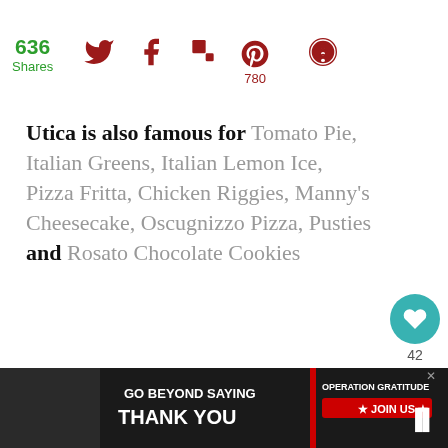636 Shares | Twitter | Facebook | Flipboard | Pinterest 780 | Other
Utica is also famous for Tomato Pie, Italian Greens, Italian Lemon Ice, Pizza Fritta, Chicken Riggies, Manny's Cheesecake, Oscugnizzo Pizza, Pusties and Rosato Chocolate Cookies
For now, while living away these will have to be the best thing until I make a visit.
Scroll down for our family recipe for Pusties, Utica Style
[Figure (infographic): Advertisement banner: GO BEYOND SAYING THANK YOU - OPERATION GRATITUDE JOIN US]
[Figure (infographic): What's Next panel: Coconut Cream Pusti...]